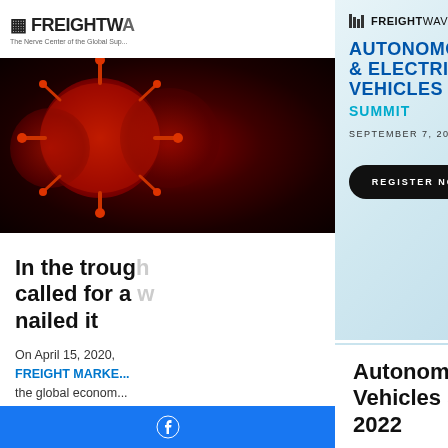[Figure (screenshot): FreightWaves website header with logo]
[Figure (photo): Dark red abstract virus/biological imagery]
In the trough, called for a ... nailed it
On April 15, 2020,
FREIGHT MARKE...
the global econom... implemented drast... unemployment hit... but I was bullish th...
[Figure (screenshot): FreightWaves Autonomous & Electric Vehicles Summit advertisement banner - REGISTER NOW button, September 7 2022, with blue electric truck illustration]
Autonomous & Electric Vehicles Summit | Sept. 7, 2022
Join us as experts discuss innovations in electrification and autonomous trucking REGISTER NOW!